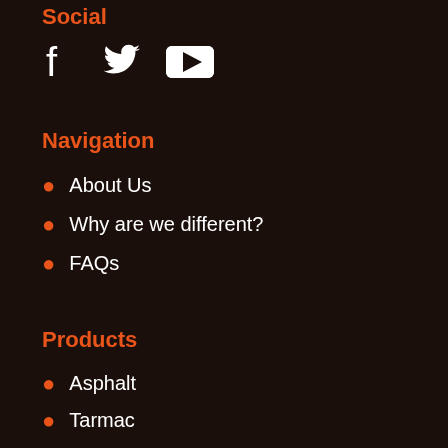Social
[Figure (illustration): Social media icons: Facebook, Twitter, YouTube]
Navigation
About Us
Why are we different?
FAQs
Products
Asphalt
Tarmac
Permanent Red Asphalt
Resin Bonded
Rubber Crumb